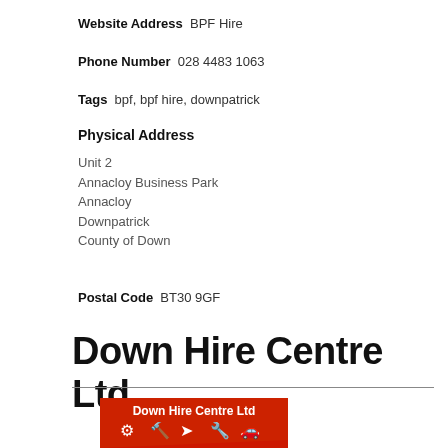Website Address  BPF Hire
Phone Number  028 4483 1063
Tags  bpf, bpf hire, downpatrick
Physical Address
Unit 2
Annacloy Business Park
Annacloy
Downpatrick
County of Down
Postal Code  BT30 9GF
Down Hire Centre Ltd
[Figure (logo): Down Hire Centre Ltd logo — red banner with white text and tool/equipment icons on a light blue background]